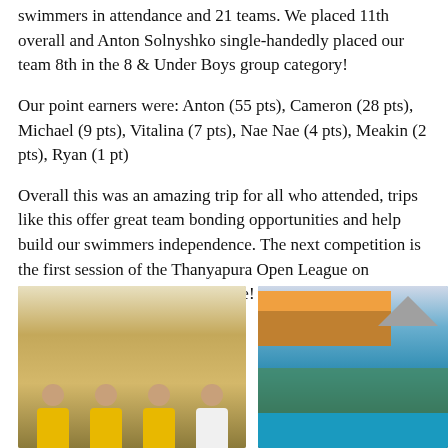swimmers in attendance and 21 teams. We placed 11th overall and Anton Solnyshko single-handedly placed our team 8th in the 8 & Under Boys group category!
Our point earners were: Anton (55 pts), Cameron (28 pts), Michael (9 pts), Vitalina (7 pts), Nae Nae (4 pts), Meakin (2 pts), Ryan (1 pt)
Overall this was an amazing trip for all who attended, trips like this offer great team bonding opportunities and help build our swimmers independence. The next competition is the first session of the Thanyapura Open League on November 30th. See you poolside! -Coach Brown
[Figure (photo): Four young girls in yellow and black team jerseys sitting together for a group photo]
[Figure (photo): Outdoor swimming pool venue with orange-roofed building, shade canopy structures, crowd of people, and blue water]